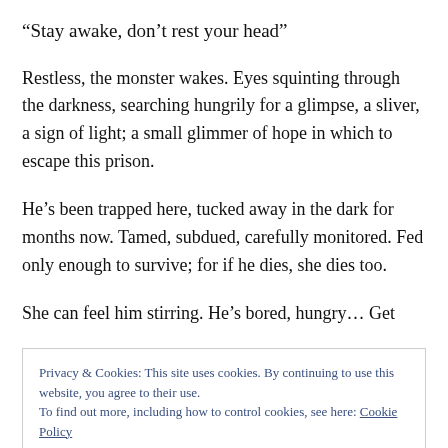“Stay awake, don’t rest your head”
Restless, the monster wakes. Eyes squinting through the darkness, searching hungrily for a glimpse, a sliver, a sign of light; a small glimmer of hope in which to escape this prison.
He’s been trapped here, tucked away in the dark for months now. Tamed, subdued, carefully monitored. Fed only enough to survive; for if he dies, she dies too.
She can feel him stirring. He’s bored, hungry… Get
Privacy & Cookies: This site uses cookies. By continuing to use this website, you agree to their use.
To find out more, including how to control cookies, see here: Cookie Policy
She feels his long cold fingers uncoiling, slowly grasping